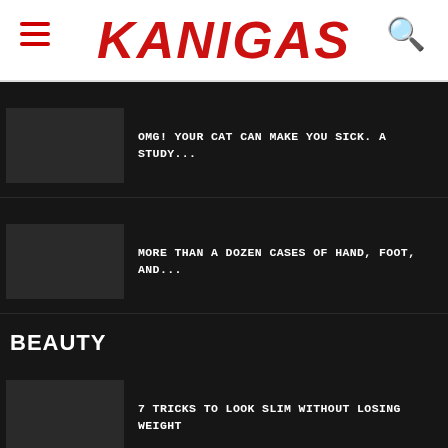KANIGAS
OMG! YOUR CAT CAN MAKE YOU SICK. A STUDY...
MORE THAN A DOZEN CASES OF HAND, FOOT, AND...
BEAUTY
7 TRICKS TO LOOK SLIM WITHOUT LOSING WEIGHT